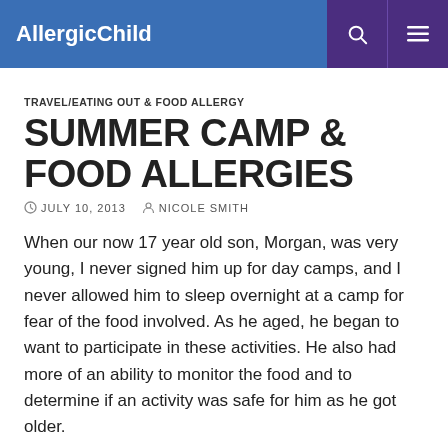AllergicChild
TRAVEL/EATING OUT & FOOD ALLERGY
SUMMER CAMP & FOOD ALLERGIES
JULY 10, 2013   NICOLE SMITH
When our now 17 year old son, Morgan, was very young, I never signed him up for day camps, and I never allowed him to sleep overnight at a camp for fear of the food involved. As he aged, he began to want to participate in these activities. He also had more of an ability to monitor the food and to determine if an activity was safe for him as he got older.
Day camps frequently are run by volunteers and/or high